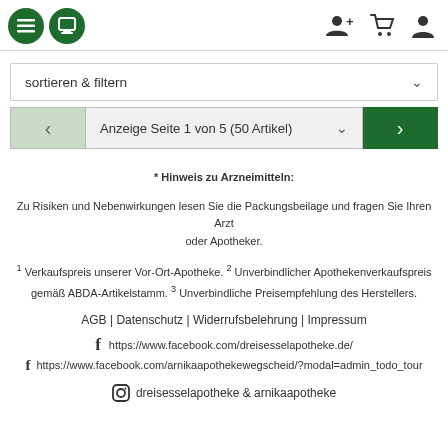Navigation header with menu, print, user-add, cart, and user icons
sortieren & filtern
Anzeige Seite 1 von 5 (50 Artikel)
* Hinweis zu Arzneimitteln:
Zu Risiken und Nebenwirkungen lesen Sie die Packungsbeilage und fragen Sie Ihren Arzt oder Apotheker.
1 Verkaufspreis unserer Vor-Ort-Apotheke. 2 Unverbindlicher Apothekenverkaufspreis gemäß ABDA-Artikelstamm. 3 Unverbindliche Preisempfehlung des Herstellers.
AGB | Datenschutz | Widerrufsbelehrung | Impressum
https://www.facebook.com/dreisesselapotheke.de/
https://www.facebook.com/arnikaapothekewegscheid/?modal=admin_todo_tour
dreisesselapotheke & arnikaapotheke